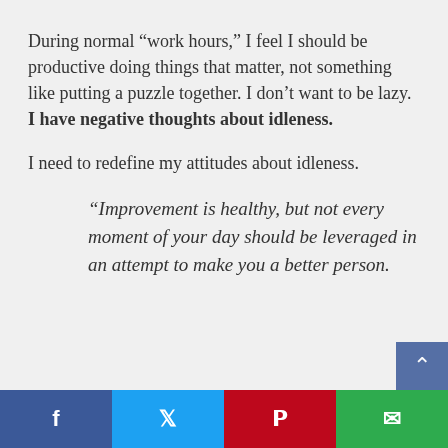During normal “work hours,” I feel I should be productive doing things that matter, not something like putting a puzzle together. I don’t want to be lazy. I have negative thoughts about idleness.
I need to redefine my attitudes about idleness.
“Improvement is healthy, but not every moment of your day should be leveraged in an attempt to make you a better person.